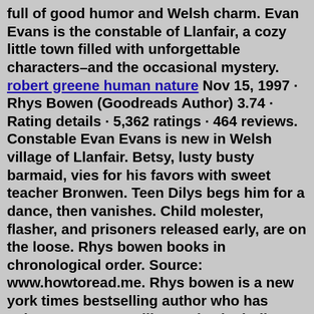full of good humor and Welsh charm. Evan Evans is the constable of Llanfair, a cozy little town filled with unforgettable characters–and the occasional mystery. robert greene human nature Nov 15, 1997 · Rhys Bowen (Goodreads Author) 3.74 · Rating details · 5,362 ratings · 464 reviews. Constable Evan Evans is new in Welsh village of Llanfair. Betsy, lusty busty barmaid, vies for his favors with sweet teacher Bronwen. Teen Dilys begs him for a dance, then vanishes. Child molester, flasher, and prisoners released early, are on the loose. Rhys bowen books in chronological order. Source: www.howtoread.me. Rhys bowen is a new york times bestselling author who has written many top selling series including constable evans, the molly murphy mysteries, and the royal spyness series. Be sure to check out the "molly murphy" series by rhys bowen as well. Source: quiere-vivir-mejor ...Jan 02, 2022 · Below is a list of rhys bowen's books in order of when they were first published: Today, She Writes The Constable Evan Evans, Molly Murphy, And Royal Bloodlines series.